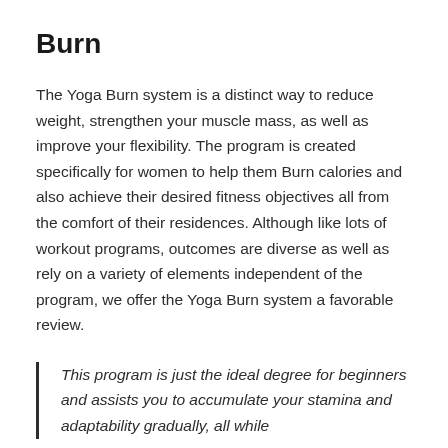Burn
The Yoga Burn system is a distinct way to reduce weight, strengthen your muscle mass, as well as improve your flexibility. The program is created specifically for women to help them Burn calories and also achieve their desired fitness objectives all from the comfort of their residences. Although like lots of workout programs, outcomes are diverse as well as rely on a variety of elements independent of the program, we offer the Yoga Burn system a favorable review.
This program is just the ideal degree for beginners and assists you to accumulate your stamina and adaptability gradually, all while